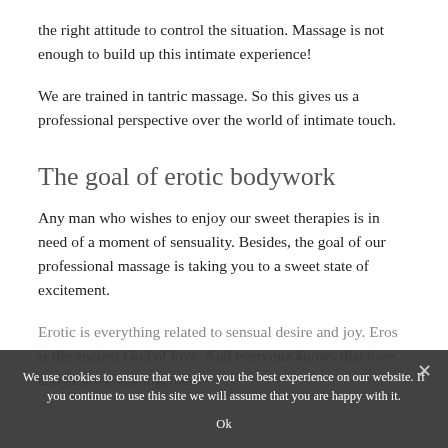the right attitude to control the situation. Massage is not enough to build up this intimate experience!
We are trained in tantric massage. So this gives us a professional perspective over the world of intimate touch.
The goal of erotic bodywork
Any man who wishes to enjoy our sweet therapies is in need of a moment of sensuality. Besides, the goal of our professional massage is taking you to a sweet state of excitement.
Erotic is everything related to sensual desire and joy. Eros is the ancient God of love. And everyone knows that love and desire come together.
We use cookies to ensure that we give you the best experience on our website. If you continue to use this site we will assume that you are happy with it.
Ok